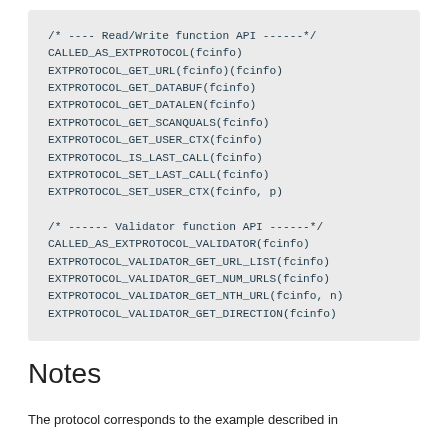/* ---- Read/Write function API ------*/
CALLED_AS_EXTPROTOCOL(fcinfo)
EXTPROTOCOL_GET_URL(fcinfo)(fcinfo)
EXTPROTOCOL_GET_DATABUF(fcinfo)
EXTPROTOCOL_GET_DATALEN(fcinfo)
EXTPROTOCOL_GET_SCANQUALS(fcinfo)
EXTPROTOCOL_GET_USER_CTX(fcinfo)
EXTPROTOCOL_IS_LAST_CALL(fcinfo)
EXTPROTOCOL_SET_LAST_CALL(fcinfo)
EXTPROTOCOL_SET_USER_CTX(fcinfo, p)

/* ------ Validator function API ------*/
CALLED_AS_EXTPROTOCOL_VALIDATOR(fcinfo)
EXTPROTOCOL_VALIDATOR_GET_URL_LIST(fcinfo)
EXTPROTOCOL_VALIDATOR_GET_NUM_URLS(fcinfo)
EXTPROTOCOL_VALIDATOR_GET_NTH_URL(fcinfo, n)
EXTPROTOCOL_VALIDATOR_GET_DIRECTION(fcinfo)
Notes
The protocol corresponds to the example described in